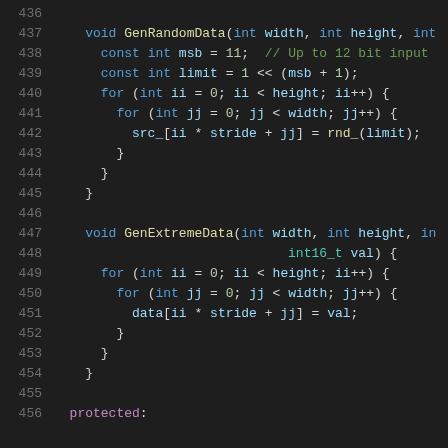[Figure (screenshot): Source code listing (C++) showing lines 436–456, with two function definitions: GenRandomData and GenExtremeData, followed by a 'protected:' label. Dark background IDE code viewer with syntax highlighting.]